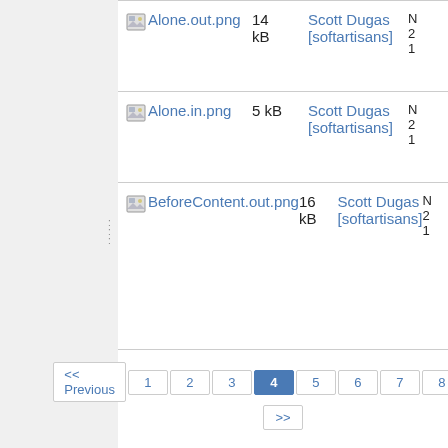| Name | Size | Author | Date |
| --- | --- | --- | --- |
| Alone.out.png | 14 kB | Scott Dugas [softartisans] | N... 2... 1... |
| Alone.in.png | 5 kB | Scott Dugas [softartisans] | N... 2... 1... |
| BeforeContent.out.png | 16 kB | Scott Dugas [softartisans] | N... 2... 1... |
<< Previous 1 2 3 4 5 6 7 8 Next >>